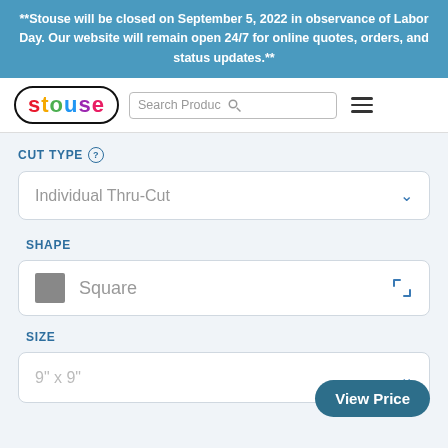**Stouse will be closed on September 5, 2022 in observance of Labor Day. Our website will remain open 24/7 for online quotes, orders, and status updates.**
[Figure (logo): Stouse logo with colorful letters in a rounded black border rectangle]
Search Products
CUT TYPE
Individual Thru-Cut
SHAPE
Square
SIZE
9" x 9"
View Price